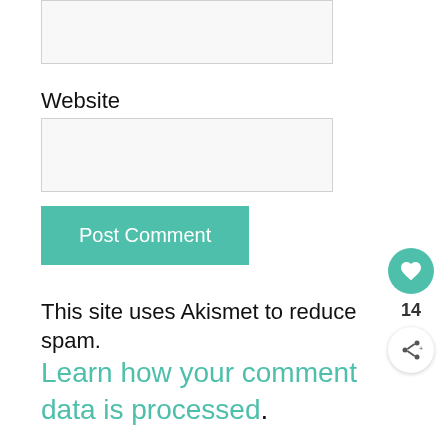[Figure (other): Empty input field (text box) at top of page]
Website
[Figure (other): Empty website input field (text box)]
[Figure (other): Post Comment button in teal/green color]
This site uses Akismet to reduce spam. Learn how your comment data is processed.
[Figure (other): Heart/like button with count 14 and share button on right side]